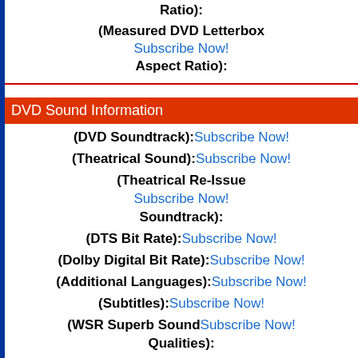Ratio):
(Measured DVD Letterbox Aspect Ratio): Subscribe Now!
DVD Sound Information
(DVD Soundtrack): Subscribe Now!
(Theatrical Sound): Subscribe Now!
(Theatrical Re-Issue Soundtrack): Subscribe Now!
(DTS Bit Rate): Subscribe Now!
(Dolby Digital Bit Rate): Subscribe Now!
(Additional Languages): Subscribe Now!
(Subtitles): Subscribe Now!
(WSR Superb Sound Qualities): Subscribe Now!
WSR Narrative Review
Story Synopsis:
Kind sirs and fair ladies, no longer must thy lack the sweet